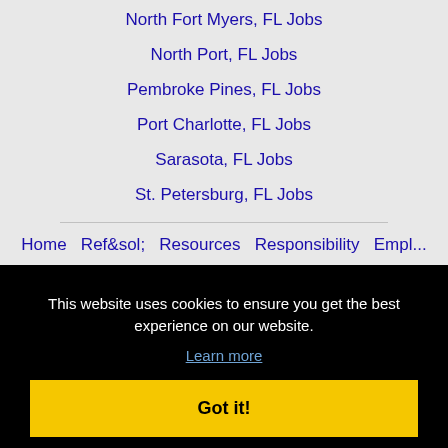North Fort Myers, FL Jobs
North Port, FL Jobs
Pembroke Pines, FL Jobs
Port Charlotte, FL Jobs
Sarasota, FL Jobs
St. Petersburg, FL Jobs
This website uses cookies to ensure you get the best experience on our website.
Learn more
Got it!